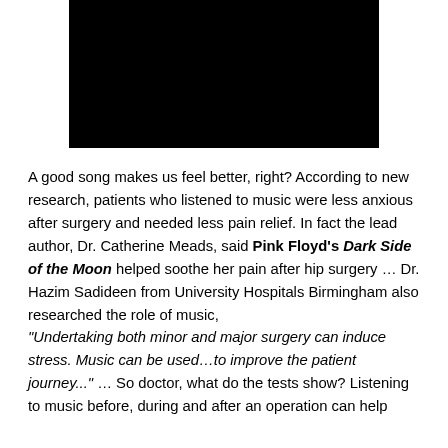[Figure (photo): Black rectangle representing a redacted or blacked-out image]
A good song makes us feel better, right? According to new research, patients who listened to music were less anxious after surgery and needed less pain relief. In fact the lead author, Dr. Catherine Meads, said Pink Floyd's Dark Side of the Moon helped soothe her pain after hip surgery … Dr. Hazim Sadideen from University Hospitals Birmingham also researched the role of music, "Undertaking both minor and major surgery can induce stress. Music can be used…to improve the patient journey..." … So doctor, what do the tests show? Listening to music before, during and after an operation can help